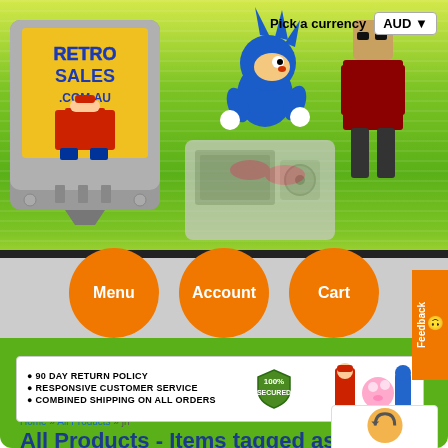[Figure (screenshot): Retro Sales .com.au website header with game cartridge logo featuring Mario pixel art, Sonic pixel art character, retro gaming console, and pixel art character on right side. Green striped background.]
Pick a currency  AUD ▼
Menu  Account  Cart
Feedback
● 90 DAY RETURN POLICY
● RESPONSIVE CUSTOMER SERVICE
● COMBINED SHIPPING ON ALL ORDERS
Home » All Products » jn
All Products - Items tagged as "jn